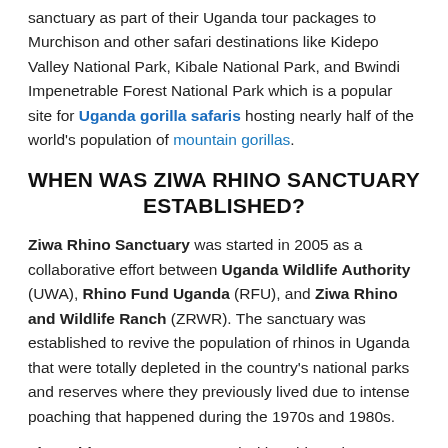sanctuary as part of their Uganda tour packages to Murchison and other safari destinations like Kidepo Valley National Park, Kibale National Park, and Bwindi Impenetrable Forest National Park which is a popular site for Uganda gorilla safaris hosting nearly half of the world's population of mountain gorillas.
WHEN WAS ZIWA RHINO SANCTUARY ESTABLISHED?
Ziwa Rhino Sanctuary was started in 2005 as a collaborative effort between Uganda Wildlife Authority (UWA), Rhino Fund Uganda (RFU), and Ziwa Rhino and Wildlife Ranch (ZRWR). The sanctuary was established to revive the population of rhinos in Uganda that were totally depleted in the country's national parks and reserves where they previously lived due to intense poaching that happened during the 1970s and 1980s.
Ziwa Rhino Sanctuary started with 6 rhinos that were re-introduced to breed them with plans of taking them to Uganda safari parks when the number increase. Four of the rhinos